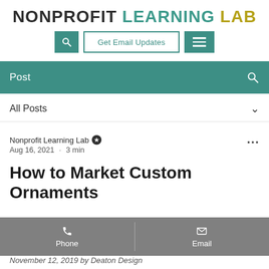NONPROFIT LEARNING LAB
[Figure (screenshot): Navigation bar with search button, Get Email Updates button, and hamburger menu button]
Post
All Posts
Nonprofit Learning Lab · Aug 16, 2021 · 3 min
How to Market Custom Ornaments
[Figure (screenshot): Mobile bottom navigation bar with Phone and Email icons]
November 12, 2019 by Deaton Design